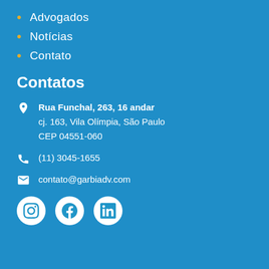Advogados
Notícias
Contato
Contatos
Rua Funchal, 263, 16 andar
cj. 163, Vila Olímpia, São Paulo
CEP 04551-060
(11) 3045-1655
contato@garbiadv.com
[Figure (illustration): Social media icons: Instagram, Facebook, LinkedIn in white circles on blue background]